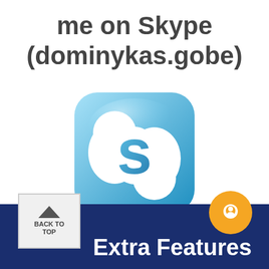me on Skype (dominykas.gobe)
[Figure (logo): Skype logo — blue rounded square with white cloud-shaped S letter]
[Figure (infographic): Footer bar with back-to-top button, Extra Features label, and orange chat bubble icon]
Extra Features